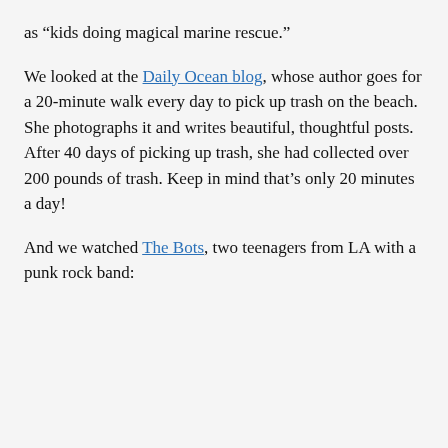as “kids doing magical marine rescue.”
We looked at the Daily Ocean blog, whose author goes for a 20-minute walk every day to pick up trash on the beach. She photographs it and writes beautiful, thoughtful posts. After 40 days of picking up trash, she had collected over 200 pounds of trash. Keep in mind that’s only 20 minutes a day!
And we watched The Bots, two teenagers from LA with a punk rock band: